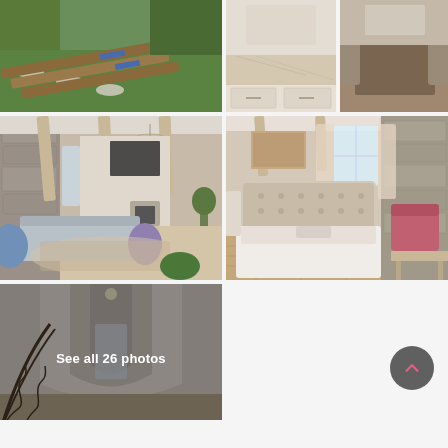[Figure (photo): Outdoor area with green lawn and wooden sun loungers/deck chairs arranged in a row]
[Figure (photo): Kitchen counter with marble/stone countertop]
[Figure (photo): Dining area with chairs and wooden floor]
[Figure (photo): Interior living room with exposed wooden ceiling beams, stone walls, chandelier, sofa, blue and purple chairs, fireplace, TV and shelving]
[Figure (photo): Bedroom with upholstered headboard, white bedding, exposed wooden beams, stone wall, window with curtains, pink armchair]
[Figure (photo): Interior corridor/hallway with arched ceiling, white walls, ornate iron railing staircase, blurred/darkened with overlay text 'See all 26 photos']
See all 26 photos